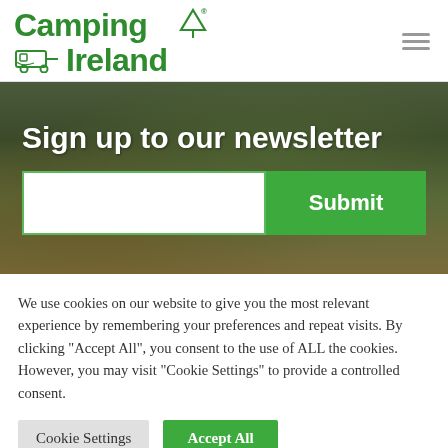[Figure (logo): Camping Ireland logo with green bold text and caravan/tree icons]
Sign up to our newsletter
We use cookies on our website to give you the most relevant experience by remembering your preferences and repeat visits. By clicking "Accept All", you consent to the use of ALL the cookies. However, you may visit "Cookie Settings" to provide a controlled consent.
Cookie Settings
Accept All